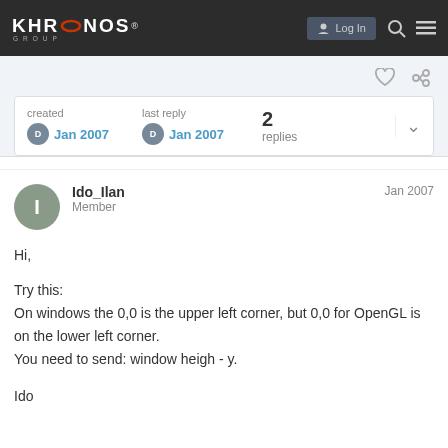KHRONOS GROUP — Log In
created Jan 2007  last reply Jan 2007  2 replies
Ido_Ilan
Member
Jan 2007

Hi,

Try this:
On windows the 0,0 is the upper left corner, but 0,0 for OpenGL is on the lower left corner.
You need to send: window heigh - y.

Ido